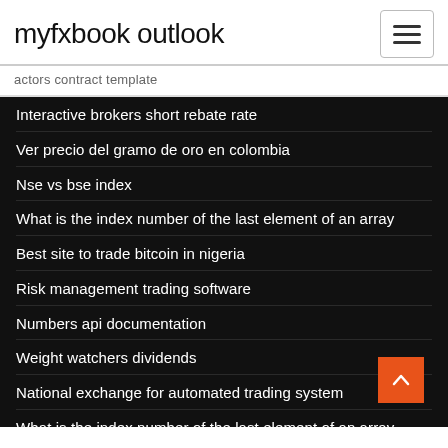myfxbook outlook
actors contract template
Interactive brokers short rebate rate
Ver precio del gramo de oro en colombia
Nse vs bse index
What is the index number of the last element of an array
Best site to trade bitcoin in nigeria
Risk management trading software
Numbers api documentation
Weight watchers dividends
National exchange for automated trading system
What is the index number of the last element of an array